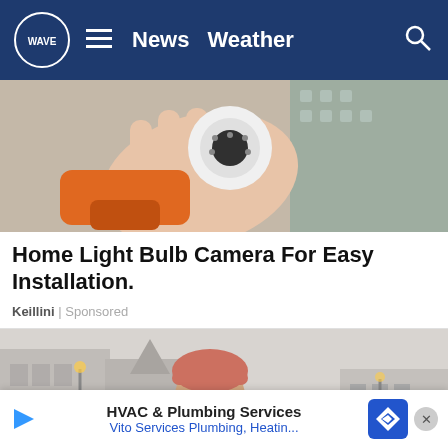WAVE News Weather
[Figure (photo): Hand holding a small white security camera with orange power drill and circuit board components in background]
Home Light Bulb Camera For Easy Installation.
Keillini | Sponsored
[Figure (photo): Smiling woman wearing a red knit hat and tan coat with scarf in a city street scene]
HVAC & Plumbing Services
Vito Services Plumbing, Heatin...